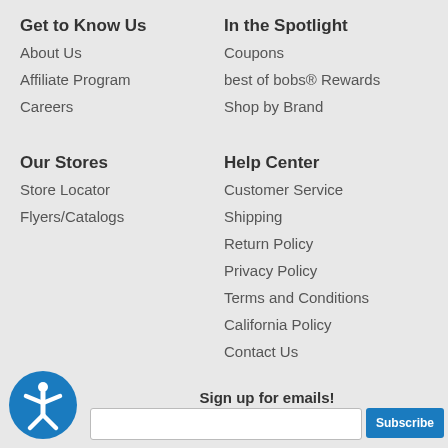Get to Know Us
About Us
Affiliate Program
Careers
Our Stores
Store Locator
Flyers/Catalogs
In the Spotlight
Coupons
best of bobs® Rewards
Shop by Brand
Help Center
Customer Service
Shipping
Return Policy
Privacy Policy
Terms and Conditions
California Policy
Contact Us
Sign up for emails!